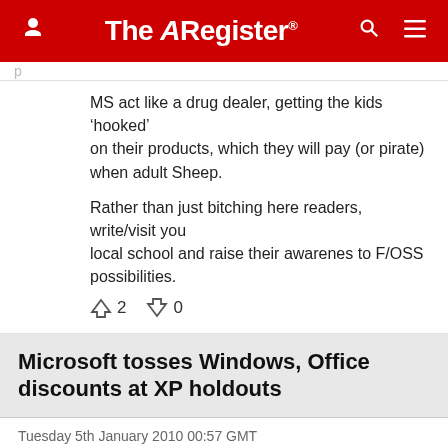The Register
MS act like a drug dealer, getting the kids 'hooked' on their products, which they will pay (or pirate) when adult Sheep.

Rather than just bitching here readers, write/visit you local school and raise their awarenes to F/OSS possibilities.
↑2  ↓0
Microsoft tosses Windows, Office discounts at XP holdouts
Tuesday 5th January 2010 00:57 GMT
OpenSauce
Report abuse
OpenOffice.org still cheaper than Office